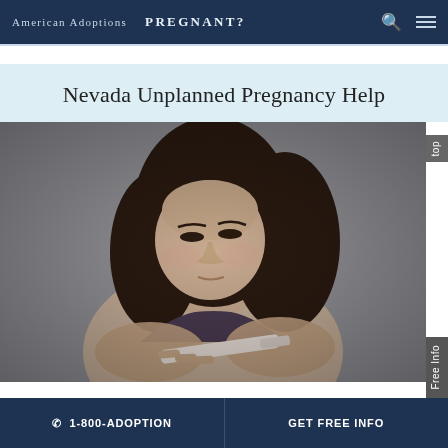American Adoptions   PREGNANT?
Nevada Unplanned Pregnancy Help
[Figure (photo): A young woman with long dark hair looking down at a pregnancy test she is holding in her hands, with a distressed expression, against a blurred grey background.]
1-800-ADOPTION   GET FREE INFO